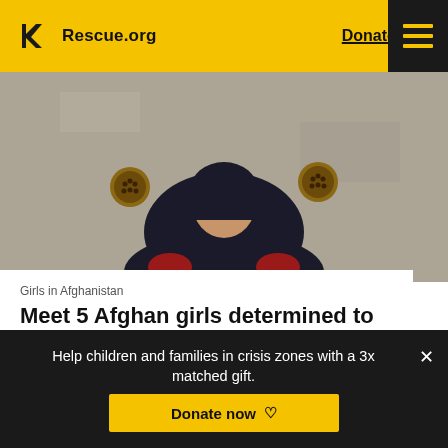Rescue.org  Donate
[Figure (photo): A young girl holding two large sunflowers, one on each side of her face, smiling at the camera. She is wearing a dark robe/hijab. The background is a grey concrete wall.]
Girls in Afghanistan
Meet 5 Afghan girls determined to get an education
Meet the girls
Help children and families in crisis zones with a 3x matched gift.
Donate now